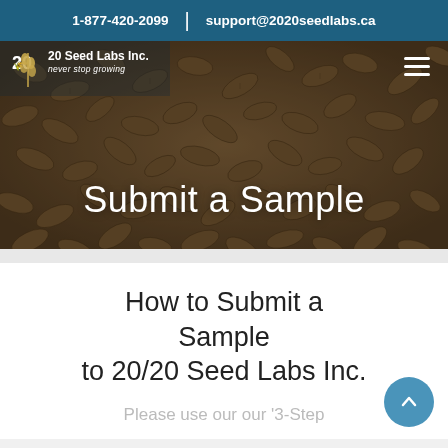1-877-420-2099  |  support@2020seedlabs.ca
[Figure (photo): Hero image of grain seeds (wheat/barley) with '20/20 Seed Labs Inc. never stop growing' logo at top left and hamburger menu icon at top right. Large white text 'Submit a Sample' overlaid on the image.]
How to Submit a Sample to 20/20 Seed Labs Inc.
Please use our our '3-Step